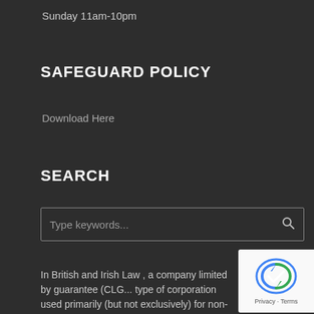Sunday 11am-10pm
SAFEGUARD POLICY
Download Here
SEARCH
Type keywords...
In British and Irish Law , a company limited by guarantee (CLO... type of corporation used primarily (but not exclusively) for non-profit